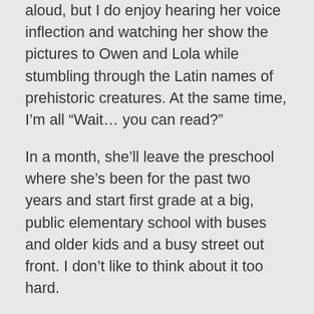aloud, but I do enjoy hearing her voice inflection and watching her show the pictures to Owen and Lola while stumbling through the Latin names of prehistoric creatures.  At the same time, I’m all “Wait… you can read?”
In a month, she’ll leave the preschool where she’s been for the past two years and start first grade at a big, public elementary school with buses and older kids and a busy street out front.  I don’t like to think about it too hard.
Today, I realized she’s approaching the age where I actually have distinct memories that have remained for 30+ years.  Maybe she’s already there.  And immediately, my mind conjures the image that appears any time I worry about an errant comment, missed date, or forgotten promise to my little girl:  the